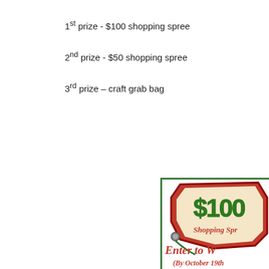1st prize - $100 shopping spree
2nd prize - $50 shopping spree
3rd prize – craft grab bag
[Figure (illustration): A decorative promotional image showing a red gift tag with '$100 Shopping Spree' text in green, and 'Enter to Win (By October 19th)' text in red script below, with 'from' text at the bottom, on a green-bordered white background.]